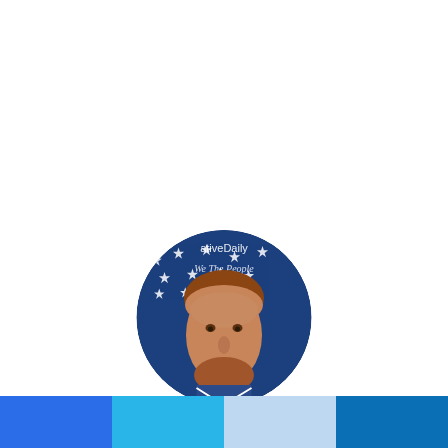[Figure (photo): Circular profile photo of Rich Mitchell, a man with reddish-brown hair and beard, against an American flag background with 'Conservative Daily' text visible at top]
Rich Mitchell
Rich Mitchell is the editor-in-chief of Conservative Daily News and the president of Bald Eagle Media, LLC. His posts may contain opinions that are his own and are not necessarily shared by Bald Eagle Media, CDN,